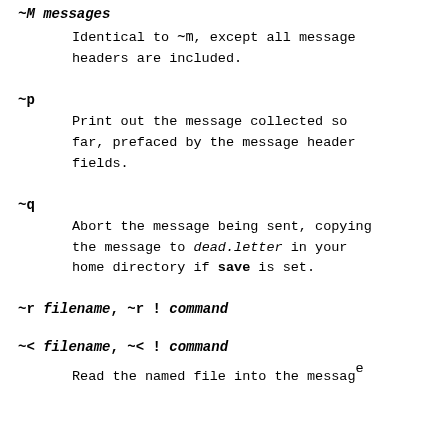~M messages
Identical to ~m, except all message headers are included.
~p
Print out the message collected so far, prefaced by the message header fields.
~q
Abort the message being sent, copying the message to dead.letter in your home directory if save is set.
~r filename, ~r ! command
~< filename, ~< ! command
Read the named file into the message